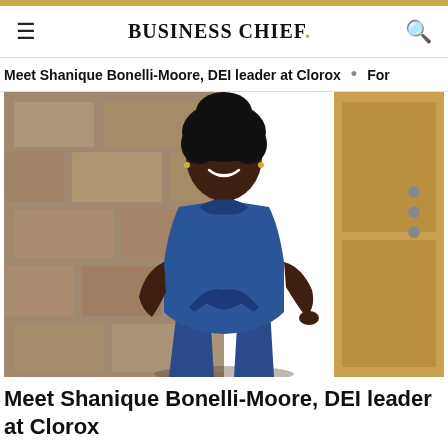BUSINESS CHIEF.
Meet Shanique Bonelli-Moore, DEI leader at Clorox  •  For
[Figure (photo): Portrait photo of Shanique Bonelli-Moore, a woman wearing a blue sleeveless dress with a tie-front detail, smiling, standing in front of a stone wall and wooden door]
Meet Shanique Bonelli-Moore, DEI leader at Clorox